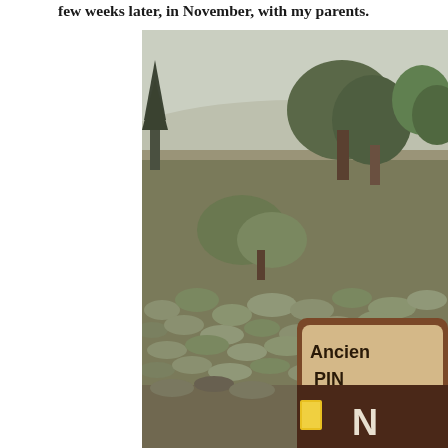few weeks later, in November, with my parents.
[Figure (photo): Outdoor desert landscape photograph showing sagebrush-covered hillside with pine and juniper trees. In the foreground, a National Park Service brown wooden sign reads 'Ancient Bristlecone PINE' with additional text partially visible. A yellow placard is attached to the sign post. The sky is overcast and trees dot the upper hillside.]